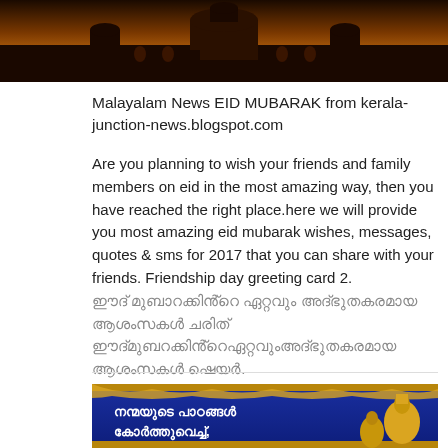[Figure (photo): Dark silhouette of a mosque or ornate building against an amber/dark sky, top banner image]
Malayalam News EID MUBARAK from kerala-junction-news.blogspot.com
Are you planning to wish your friends and family members on eid in the most amazing way, then you have reached the right place.here we will provide you most amazing eid mubarak wishes, messages, quotes & sms for 2017 that you can share with your friends. Friendship day greeting card 2. [Malayalam script text]
[Figure (photo): Blue and gold decorated Eid greeting card with Malayalam text 'നന്മയുടെ പാഠങ്ങൾ കോർത്തുവെച്ച്' and golden mosque domes on royal blue background with gold floral border]